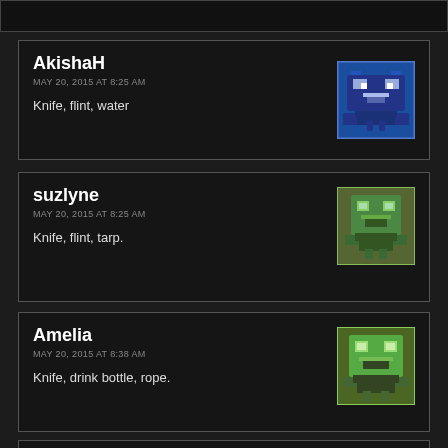AkishaH
MAY 20, 2015 AT 8:25 AM
Knife, flint, water
[Figure (illustration): Pixel art avatar, blue background with dark robot/alien character]
suzlyne
MAY 20, 2015 AT 8:25 AM
Knife, flint, tarp.
[Figure (illustration): Pixel art avatar, green and brown color scheme with robot character]
Amelia
MAY 20, 2015 AT 8:38 AM
Knife, drink bottle, rope.
[Figure (illustration): Pixel art avatar, green and dark brown background with robot character]
Erika